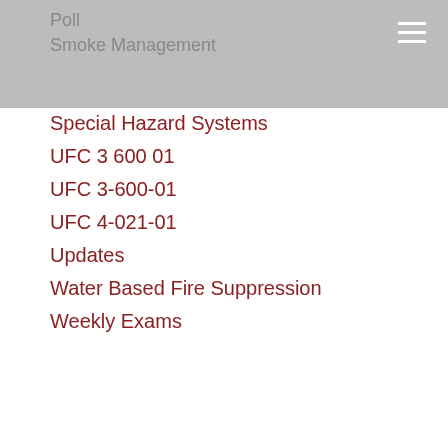Poll
Smoke Management
Special Hazard Systems
UFC 3 600 01
UFC 3-600-01
UFC 4-021-01
Updates
Water Based Fire Suppression
Weekly Exams
ARCHIVES
September 2022
August 2022
July 2022
June 2022
May 2022
April 2022